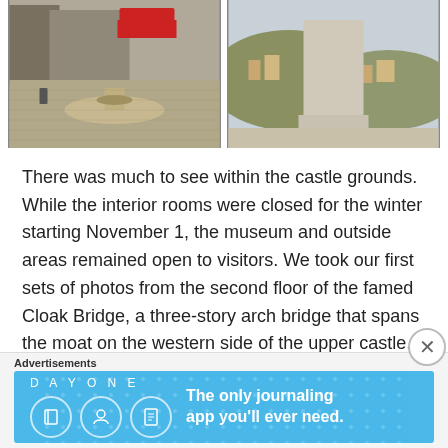[Figure (photo): Two outdoor photos side by side: left shows a cobblestone town square with a stone fountain and a red vehicle parked in the background; right shows a stone monument or statue base with a hilly town visible in the background.]
There was much to see within the castle grounds. While the interior rooms were closed for the winter starting November 1, the museum and outside areas remained open to visitors. We took our first sets of photos from the second floor of the famed Cloak Bridge, a three-story arch bridge that spans the moat on the western side of the upper castle. Built over a period of over 100 years in the late 17th and 18th centuries, the stone bridge was a marvel of engineering’s the time, connecting different parts of the castle.
Advertisements
[Figure (screenshot): Advertisement banner for Day One journaling app on a blue background with white icons and text reading 'DAY ONE' and 'The only journaling app you’ll ever need.']